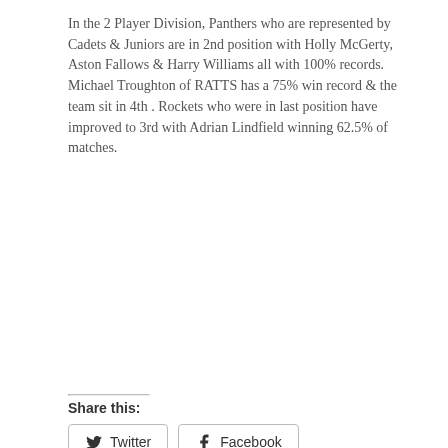In the 2 Player Division, Panthers who are represented by Cadets & Juniors are in 2nd position with Holly McGerty, Aston Fallows & Harry Williams all with 100% records. Michael Troughton of RATTS has a 75% win record & the team sit in 4th . Rockets who were in last position have improved to 3rd with Adrian Lindfield winning 62.5% of matches.
Share this:
Twitter  Facebook
Privacy & Cookies: This site uses cookies. By continuing to use this website, you agree to their use.
To find out more, including how to control cookies, see here: Cookie Policy
Close and accept
2015-2016 Season    Success at Suffolk and